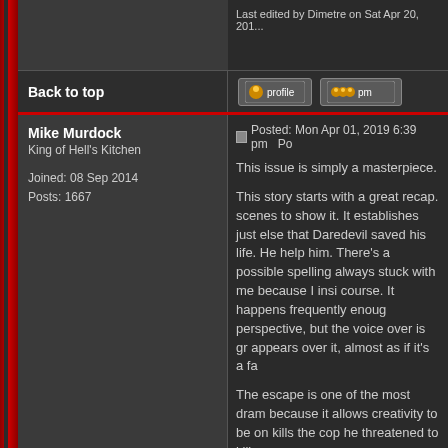Last edited by Dimetre on Sat Apr 20, 201...
Back to top
[Figure (screenshot): Profile button icon]
[Figure (screenshot): PM button icon]
Mike Murdock
King of Hell's Kitchen

Joined: 08 Sep 2014
Posts: 1667
Posted: Mon Apr 01, 2019 6:39 pm
This issue is simply a masterpiece.

This story starts with a great recap. scenes to show it. It establishes just else that Daredevil saved his life. He help him. There's a possible spelling always stuck with me because I insi course. It happens frequently enoug perspective, but the voice over is gr appears over it, almost as if it's a fa

The escape is one of the most dram because it allows creativity to be on kills the cop he threatened to kill ear

One of the best pages in the issue is Daredevil is Matt Murdock and laug items are exaggerated for emphasis but, if you were to treat those panels